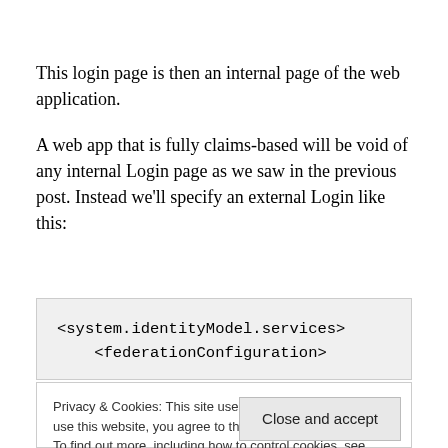This login page is then an internal page of the web application.
A web app that is fully claims-based will be void of any internal Login page as we saw in the previous post. Instead we'll specify an external Login like this:
<system.identityModel.services>
    <federationConfiguration>
Privacy & Cookies: This site uses cookies. By continuing to use this website, you agree to their use.
To find out more, including how to control cookies, see here: Cookie Policy